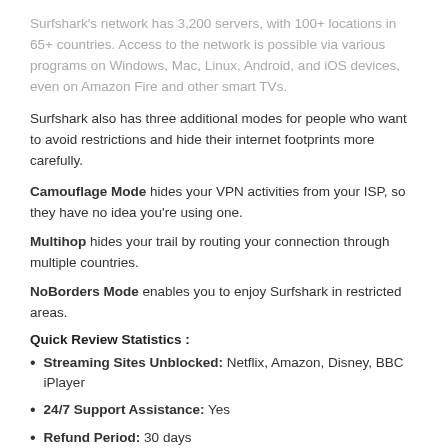Surfshark's network has 3,200 servers, with 100+ locations in 65+ countries. Access to the network is possible via various programs on Windows, Mac, Linux, Android, and iOS devices, even on Amazon Fire and other smart TVs.
Surfshark also has three additional modes for people who want to avoid restrictions and hide their internet footprints more carefully.
Camouflage Mode hides your VPN activities from your ISP, so they have no idea you're using one.
Multihop hides your trail by routing your connection through multiple countries.
NoBorders Mode enables you to enjoy Surfshark in restricted areas.
Quick Review Statistics :
Streaming Sites Unblocked: Netflix, Amazon, Disney, BBC iPlayer
24/7 Support Assistance: Yes
Refund Period: 30 days